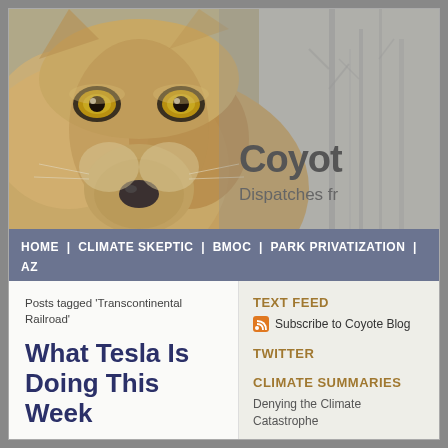[Figure (photo): Close-up photo of a coyote face with golden eyes, with winter trees in background. Header image for Coyote Blog website.]
Coyot
Dispatches fr
HOME | CLIMATE SKEPTIC | BMOC | PARK PRIVATIZATION | AZ PARKS PROPOSAL | CONTACT
Posts tagged 'Transcontinental Railroad'
What Tesla Is Doing This Week
June 25, 2018, 1:50 pm
TEXT FEED
Subscribe to Coyote Blog
TWITTER
CLIMATE SUMMARIES
Denying the Climate Catastrophe
Greenhouse Effect Basics